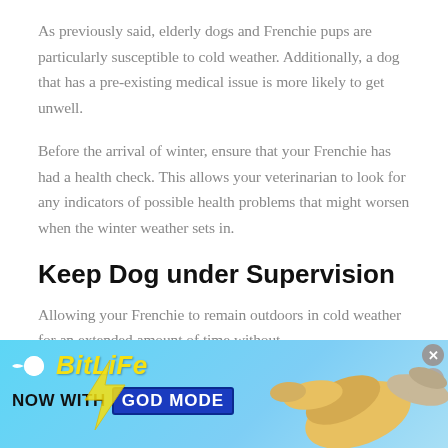As previously said, elderly dogs and Frenchie pups are particularly susceptible to cold weather. Additionally, a dog that has a pre-existing medical issue is more likely to get unwell.
Before the arrival of winter, ensure that your Frenchie has had a health check. This allows your veterinarian to look for any indicators of possible health problems that might worsen when the winter weather sets in.
Keep Dog under Supervision
Allowing your Frenchie to remain outdoors in cold weather for an extended amount of time without
[Figure (infographic): BitLife advertisement banner with cyan/blue gradient background. Shows BitLife logo in yellow italic text with a sperm icon, tagline 'NOW WITH GOD MODE' in black and blue, lightning bolt graphic, and illustrated hands pointing.]